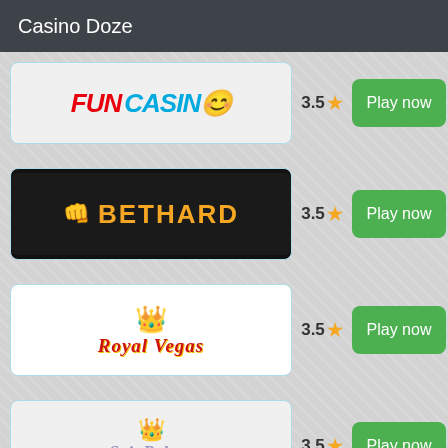Casino Doze
Fun Casino — Rating: 3.5 — Play now
Bethard — Rating: 3.5 — Play now
Royal Vegas — Rating: 3.5 — Play now
Spin Palace Casino — Rating: 3.5 — Play now
Yeti Casino — Rating: 3.5 — Play now